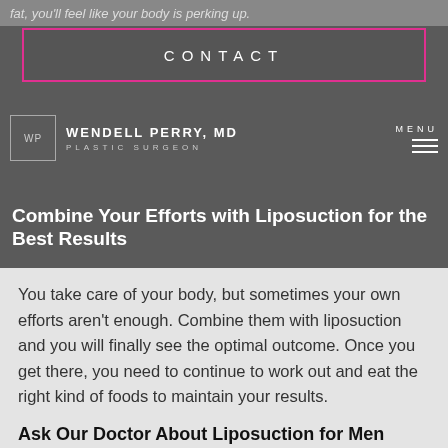fat, you'll feel like your body is perking up.
[Figure (other): CONTACT button with pink/magenta border on dark gray background]
[Figure (logo): WP logo box with WENDELL PERRY, MD PLASTIC SURGEON text and MENU hamburger icon on dark gray navigation bar]
Combine Your Efforts with Liposuction for the Best Results
You take care of your body, but sometimes your own efforts aren't enough. Combine them with liposuction and you will finally see the optimal outcome. Once you get there, you need to continue to work out and eat the right kind of foods to maintain your results.
Ask Our Doctor About Liposuction for Men